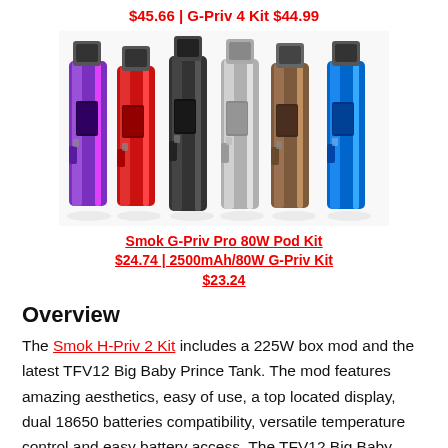$45.66 | G-Priv 4 Kit $44.99
[Figure (photo): Six Smok G-Priv Pro 80W Pod Kit devices in different colors (purple, red, dark grey, silver, brown/gold, blue) displayed side by side]
Smok G-Priv Pro 80W Pod Kit $24.74 | 2500mAh/80W G-Priv Kit $23.24
Overview
The Smok H-Priv 2 Kit includes a 225W box mod and the latest TFV12 Big Baby Prince Tank. The mod features amazing aesthetics, easy of use, a top located display, dual 18650 batteries compatibility, versatile temperature control and easy battery access. The TFV12 Big Baby Prince has a wide range of